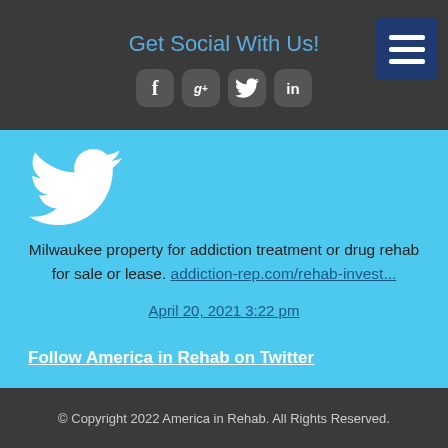Get Social With Us!
[Figure (illustration): Social media icons: Facebook, Google+, Twitter, LinkedIn in rounded square buttons, and a hamburger menu button in dark blue]
[Figure (logo): White Twitter bird logo on blue background]
Milwaukee property for addiction treatment or drug rehab for sale or lease. addiction-rep.com/rehab-invest...
April 20, 2021 3:22 pm
Follow America in Rehab on Twitter
© Copyright 2022 America in Rehab. All Rights Reserved.